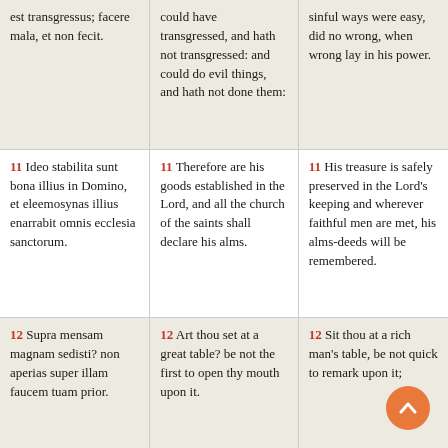est transgressus; facere mala, et non fecit.
could have transgressed, and hath not transgressed: and could do evil things, and hath not done them:
sinful ways were easy, did no wrong, when wrong lay in his power.
11 Ideo stabilita sunt bona illius in Domino, et eleemosynas illius enarrabit omnis ecclesia sanctorum.
11 Therefore are his goods established in the Lord, and all the church of the saints shall declare his alms.
11 His treasure is safely preserved in the Lord's keeping and wherever faithful men are met, his alms-deeds will be remembered.
12 Supra mensam magnam sedisti? non aperias super illam faucem tuam prior.
12 Art thou set at a great table? be not the first to open thy mouth upon it.
12 Sit thou at a rich man's table, be not quick to remark upon it;